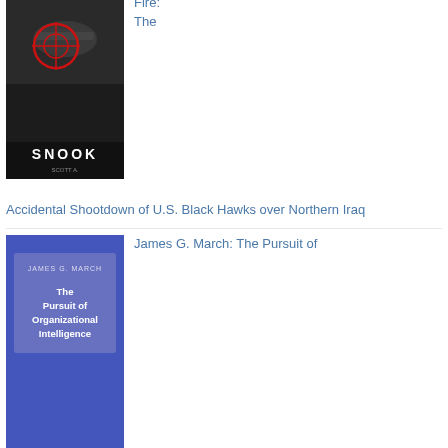[Figure (illustration): Book cover of 'Friendly Fire: The Accidental Shootdown of U.S. Black Hawks over Northern Iraq' by Snook, dark background with red target crosshair]
Fire: The Accidental Shootdown of U.S. Black Hawks over Northern Iraq
Accidental Shootdown of U.S. Black Hawks over Northern Iraq
[Figure (illustration): Book cover of 'The Pursuit of Organizational Intelligence' by James G. March, blue textured cover with title in white box]
James G. March: The Pursuit of
Organizational Intelligence: Decisions and Learning in Organizations (Blackwell Business)
[Figure (illustration): Book cover partially visible, dark/black cover with 'James G. March' text, bottom of page]
James March: